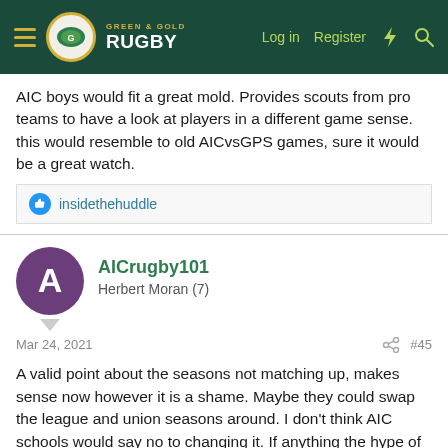Green & Gold Rugby — Log in | Register
AIC boys would fit a great mold. Provides scouts from pro teams to have a look at players in a different game sense. this would resemble to old AICvsGPS games, sure it would be a great watch.
insidethehuddle
AICrugby101
Herbert Moran (7)
Mar 24, 2021
#45
A valid point about the seasons not matching up, makes sense now however it is a shame. Maybe they could swap the league and union seasons around. I don't think AIC schools would say no to changing it. If anything the hype of First XV union season which is already the most hyped firsts premiership in the AIC calendar year would be bigger after the league season. Food for thought anyway.